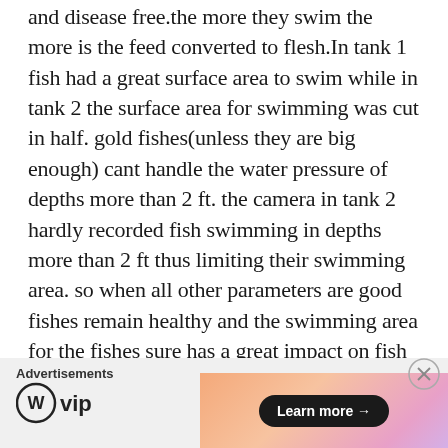and disease free.the more they swim the more is the feed converted to flesh.In tank 1 fish had a great surface area to swim while in tank 2 the surface area for swimming was cut in half. gold fishes(unless they are big enough) cant handle the water pressure of depths more than 2 ft. the camera in tank 2 hardly recorded fish swimming in depths more than 2 ft thus limiting their swimming area. so when all other parameters are good fishes remain healthy and the swimming area for the fishes sure has a great impact on fish growth.
Advertisements
[Figure (logo): WordPress VIP logo with circle W icon and 'vip' text]
[Figure (infographic): Advertisement banner with gradient background (orange to pink to purple) containing a 'Learn more →' button in dark rounded rectangle]